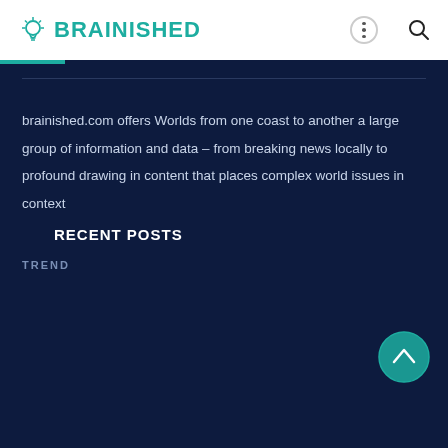BRAINISHED
brainished.com offers Worlds from one coast to another a large group of information and data – from breaking news locally to profound drawing in content that places complex world issues in context
RECENT POSTS
TREND